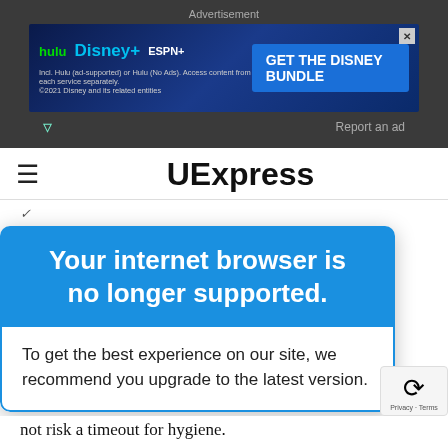[Figure (screenshot): Advertisement banner for Disney Bundle featuring Hulu, Disney+, and ESPN+ logos with a blue 'GET THE DISNEY BUNDLE' call-to-action button on a dark blue background.]
UExpress
While the envoy was gone, those of us left behind in
[Figure (screenshot): Browser compatibility warning modal: 'Your internet browser is no longer supported. To get the best experience on our site, we recommend you upgrade to the latest version.']
eople. Some of howers during oleted 14 ssance sult, we not risk a timeout for hygiene.